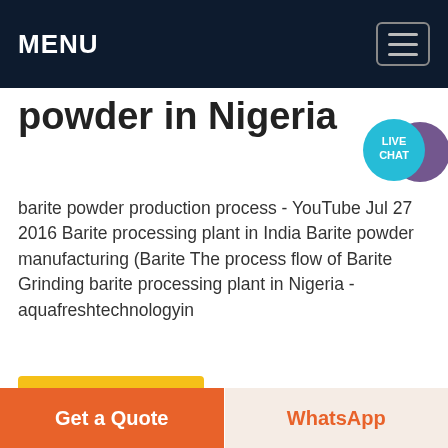MENU
powder in Nigeria
barite powder production process - YouTube Jul 27 2016 Barite processing plant in India Barite powder manufacturing (Barite The process flow of Barite Grinding barite processing plant in Nigeria - aquafreshtechnologyin
Get price
[Figure (photo): Sky with clouds, blue and white tones]
Get a Quote
WhatsApp